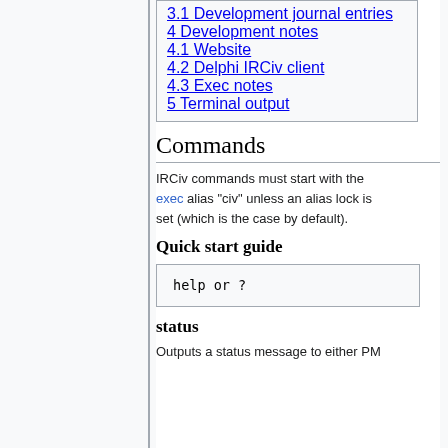3.1 Development journal entries
4 Development notes
4.1 Website
4.2 Delphi IRCiv client
4.3 Exec notes
5 Terminal output
Commands
IRCiv commands must start with the exec alias "civ" unless an alias lock is set (which is the case by default).
Quick start guide
help or ?
status
Outputs a status message to either PM